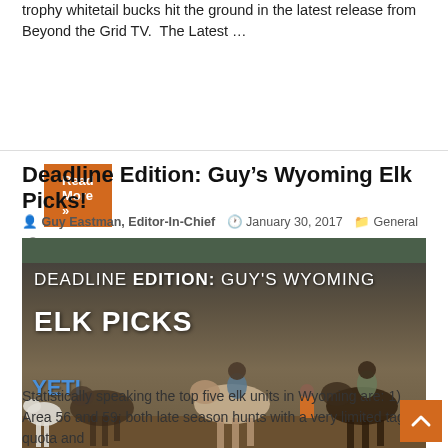trophy whitetail bucks hit the ground in the latest release from Beyond the Grid TV. The Latest …
Read More »
Deadline Edition: Guy's Wyoming Elk Picks!
Guy Eastman, Editor-In-Chief   January 30, 2017   General   9
[Figure (photo): Photo of hunters on horseback in a burned forest area with text overlay reading 'DEADLINE EDITION: GUY'S WYOMING ELK PICKS' and YETI logo visible]
Statistically speaking the top five elk units in Wyoming are: 1) Area 56 and 59; both late season hunts with a very limited tag quota and